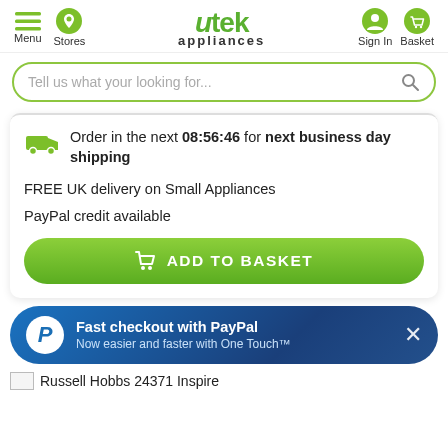[Figure (logo): utek appliances logo with green icon]
Menu  Stores  utek appliances  Sign In  Basket
Tell us what your looking for...
Order in the next 08:56:46 for next business day shipping
FREE UK delivery on Small Appliances
PayPal credit available
ADD TO BASKET
Fast checkout with PayPal
Now easier and faster with One Touch™
Russell Hobbs 24371 Inspire